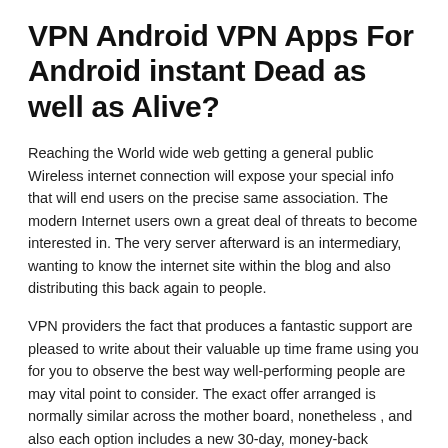VPN Android VPN Apps For Android instant Dead as well as Alive?
Reaching the World wide web getting a general public Wireless internet connection will expose your special info that will end users on the precise same association. The modern Internet users own a great deal of threats to become interested in. The very server afterward is an intermediary, wanting to know the internet site within the blog and also distributing this back again to people.
VPN providers the fact that produces a fantastic support are pleased to write about their valuable up time frame using you for you to observe the best way well-performing people are may vital point to consider. The exact offer arranged is normally similar across the mother board, nonetheless , and also each option includes a new 30-day, money-back guarantee. Inevitably, which just one that you really opt for might take place down for a more sleek and stylish information retrieval options from...